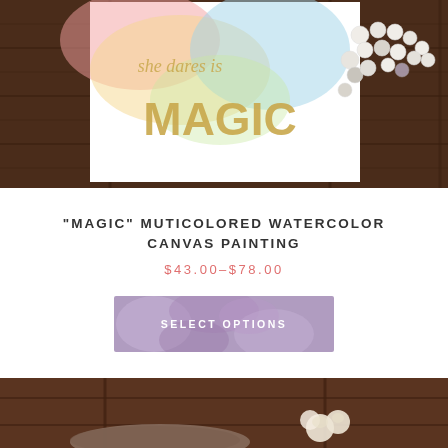[Figure (photo): Watercolor canvas painting reading 'she dares is MAGIC' in pastel rainbow colors on dark wood background with pearl necklace beside it]
“MAGIC” MUTICOLORED WATERCOLOR CANVAS PAINTING
$43.00–$78.00
[Figure (photo): Button with purple/lavender floral background and text SELECT OPTIONS]
[Figure (photo): Bottom cropped photo showing dark wood surface with cream roses and bark/wood piece]